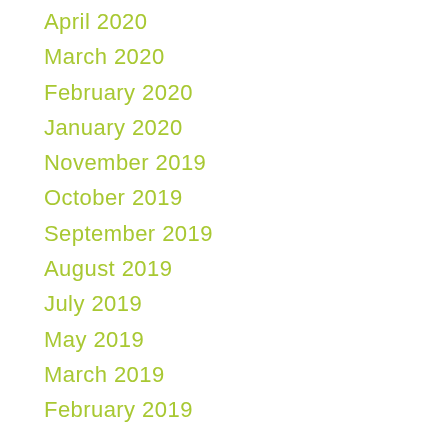April 2020
March 2020
February 2020
January 2020
November 2019
October 2019
September 2019
August 2019
July 2019
May 2019
March 2019
February 2019